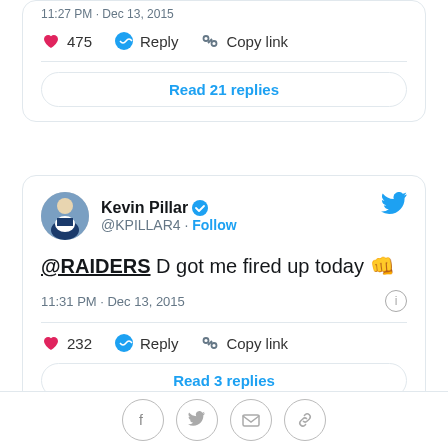11:27 PM · Dec 13, 2015
475  Reply  Copy link
Read 21 replies
Kevin Pillar @KPILLAR4 · Follow
@RAIDERS D got me fired up today 👊
11:31 PM · Dec 13, 2015
232  Reply  Copy link
Read 3 replies